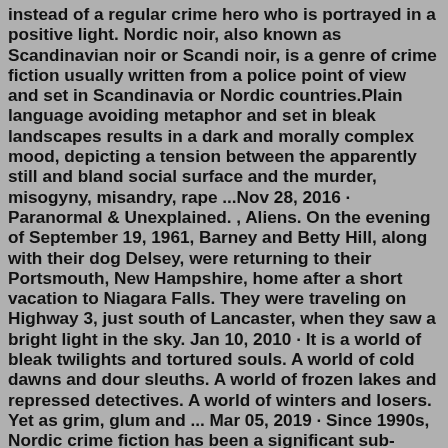instead of a regular crime hero who is portrayed in a positive light. Nordic noir, also known as Scandinavian noir or Scandi noir, is a genre of crime fiction usually written from a police point of view and set in Scandinavia or Nordic countries.Plain language avoiding metaphor and set in bleak landscapes results in a dark and morally complex mood, depicting a tension between the apparently still and bland social surface and the murder, misogyny, misandry, rape ...Nov 28, 2016 · Paranormal & Unexplained. , Aliens. On the evening of September 19, 1961, Barney and Betty Hill, along with their dog Delsey, were returning to their Portsmouth, New Hampshire, home after a short vacation to Niagara Falls. They were traveling on Highway 3, just south of Lancaster, when they saw a bright light in the sky. Jan 10, 2010 · It is a world of bleak twilights and tortured souls. A world of cold dawns and dour sleuths. A world of frozen lakes and repressed detectives. A world of winters and losers. Yet as grim, glum and ... Mar 05, 2019 · Since 1990s, Nordic crime fiction has been a significant sub-genre